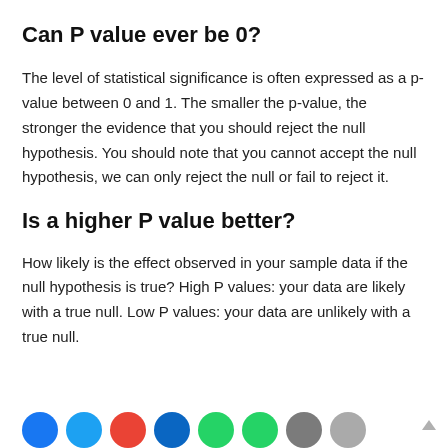Can P value ever be 0?
The level of statistical significance is often expressed as a p-value between 0 and 1. The smaller the p-value, the stronger the evidence that you should reject the null hypothesis. You should note that you cannot accept the null hypothesis, we can only reject the null or fail to reject it.
Is a higher P value better?
How likely is the effect observed in your sample data if the null hypothesis is true? High P values: your data are likely with a true null. Low P values: your data are unlikely with a true null.